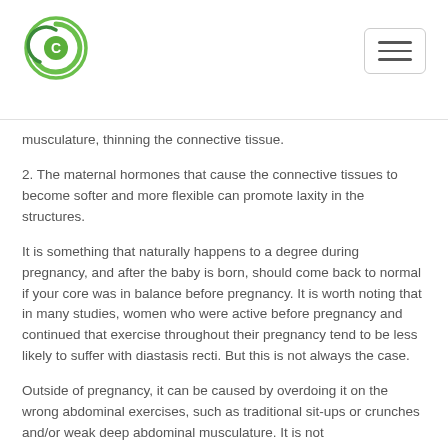musculature, thinning the connective tissue.
2. The maternal hormones that cause the connective tissues to become softer and more flexible can promote laxity in the structures.
It is something that naturally happens to a degree during pregnancy, and after the baby is born, should come back to normal if your core was in balance before pregnancy. It is worth noting that in many studies, women who were active before pregnancy and continued that exercise throughout their pregnancy tend to be less likely to suffer with diastasis recti. But this is not always the case.
Outside of pregnancy, it can be caused by overdoing it on the wrong abdominal exercises, such as traditional sit-ups or crunches and/or weak deep abdominal musculature. It is not